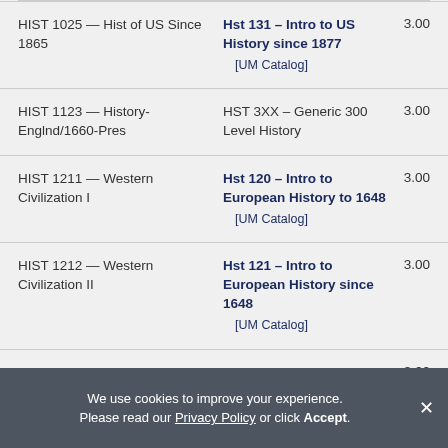| Source Course | Destination Course | Credits |
| --- | --- | --- |
| HIST 1025 — Hist of US Since 1865 | Hst 131 – Intro to US History since 1877 [UM Catalog] | 3.00 |
| HIST 1123 — History-Englnd/1660-Pres | HST 3XX – Generic 300 Level History | 3.00 |
| HIST 1211 — Western Civilization I | Hst 120 – Intro to European History to 1648 [UM Catalog] | 3.00 |
| HIST 1212 — Western Civilization II | Hst 121 – Intro to European History since 1648 [UM Catalog] | 3.00 |
| HIST 1361 — American History to 1876 | Hst 130 – Intro to US History to 1877 [UM Catalog] | 3.00 |
We use cookies to improve your experience. Please read our Privacy Policy or click Accept.